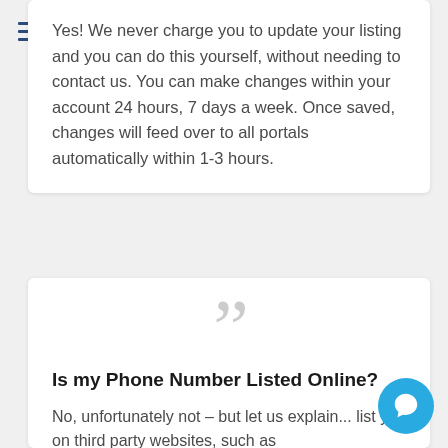Yes! We never charge you to update your listing and you can do this yourself, without needing to contact us. You can make changes within your account 24 hours, 7 days a week. Once saved, changes will feed over to all portals automatically within 1-3 hours.
Is my Phone Number Listed Online?
No, unfortunately not – but let us explain... list you on third party websites, such as Realestate.com.au we need to adhere to